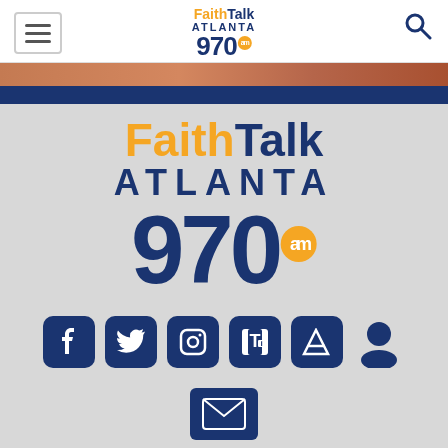[Figure (logo): FaithTalk Atlanta 970am logo in navigation bar with hamburger menu and search icon]
[Figure (logo): Large FaithTalk Atlanta 970am logo in footer area on gray background]
[Figure (infographic): Row of social media icons: Facebook, Twitter, Instagram, Tumblr, Apple News, and person/account icon, followed by email icon below]